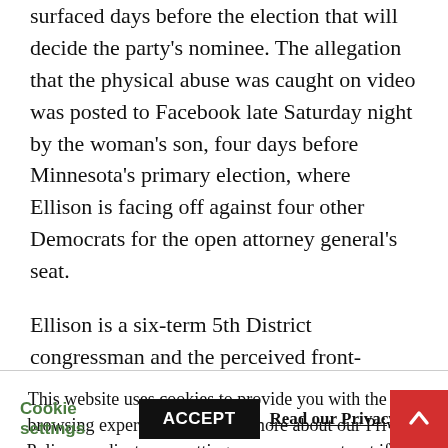surfaced days before the election that will decide the party's nominee. The allegation that the physical abuse was caught on video was posted to Facebook late Saturday night by the woman's son, four days before Minnesota's primary election, where Ellison is facing off against four other Democrats for the open attorney general's seat.
Ellison is a six-term 5th District congressman and the perceived front-runner in the race.
This website uses cookies to provide you with the best browsing experience. Find out more about our Privacy Policy or adjust your settings so you can opt-out if you wish.
Cookie settings | ACCEPT | Read our Privacy P...